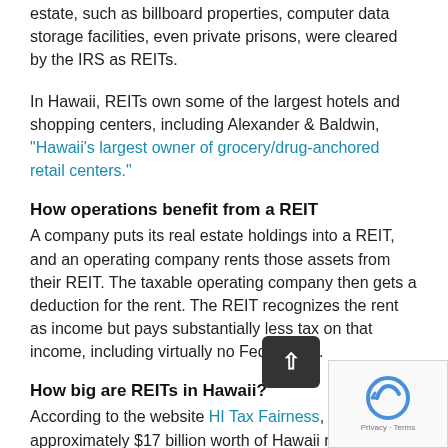estate, such as billboard properties, computer data storage facilities, even private prisons, were cleared by the IRS as REITs.
In Hawaii, REITs own some of the largest hotels and shopping centers, including Alexander & Baldwin, "Hawaii's largest owner of grocery/drug-anchored retail centers."
How operations benefit from a REIT
A company puts its real estate holdings into a REIT, and an operating company rents those assets from their REIT. The taxable operating company then gets a deduction for the rent. The REIT recognizes the rent as income but pays substantially less tax on that income, including virtually no Federal tax.
How big are REITs in Hawaii?
According to the website HI Tax Fairness, "REITs own approximately $17 billion worth of Hawaii real estate and earn about $1 billion in profits every year. Hawaii loses an